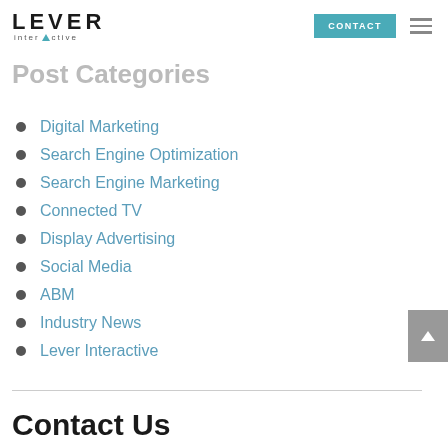LEVER interactive | CONTACT
Post Categories
Digital Marketing
Search Engine Optimization
Search Engine Marketing
Connected TV
Display Advertising
Social Media
ABM
Industry News
Lever Interactive
Contact Us